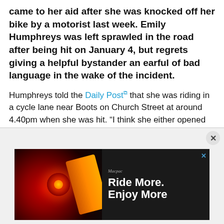came to her aid after she was knocked off her bike by a motorist last week. Emily Humphreys was left sprawled in the road after being hit on January 4, but regrets giving a helpful bystander an earful of bad language in the wake of the incident.
Humphreys told the Daily Post that she was riding in a cycle lane near Boots on Church Street at around 4.40pm when she was hit. “I think she either opened her car door, or she pulled out on me, and I went flying across the road.”
Humphreys said that she did “a lot of swearing” at the driver of the car, but also at a lady across the road.
[Figure (screenshot): Advertisement banner showing a bicycle light product with text 'Ride More. Enjoy More' on dark background with red circular light and orange accessory visible]